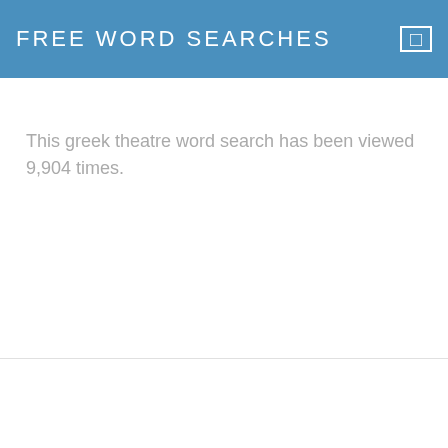FREE WORD SEARCHES
This greek theatre word search has been viewed 9,904 times.